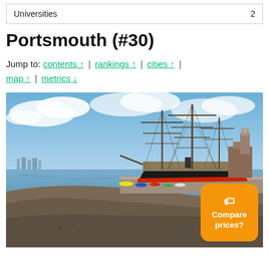| Universities | 2 |
| --- | --- |
Portsmouth (#30)
Jump to: contents ↑ | rankings ↑ | cities ↑ | map ↑ | metrics ↓
[Figure (photo): Portsmouth harbour with a tall-masted historic warship docked at the quay, smaller boats moored nearby, low-tide mudflat foreground, blue sky with clouds, brick buildings and a clock tower in the background right.]